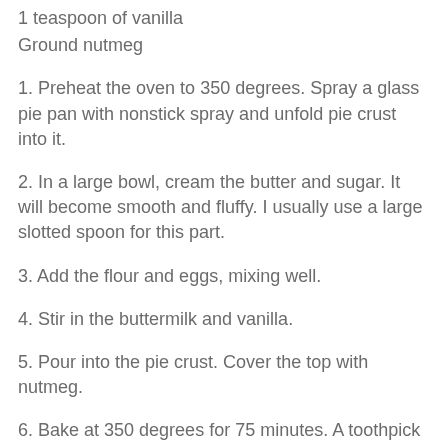1 teaspoon of vanilla
Ground nutmeg
1. Preheat the oven to 350 degrees. Spray a glass pie pan with nonstick spray and unfold pie crust into it.
2. In a large bowl, cream the butter and sugar. It will become smooth and fluffy. I usually use a large slotted spoon for this part.
3. Add the flour and eggs, mixing well.
4. Stir in the buttermilk and vanilla.
5. Pour into the pie crust. Cover the top with nutmeg.
6. Bake at 350 degrees for 75 minutes. A toothpick in the middle will come out clean.